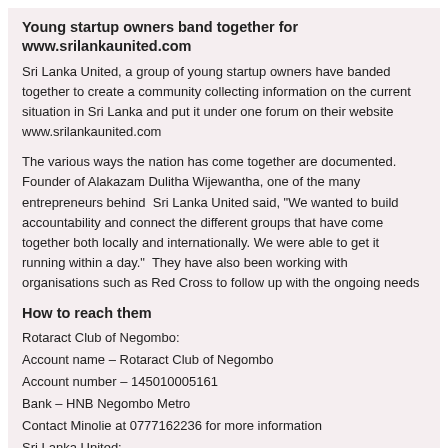Young startup owners band together for www.srilankaunited.com
Sri Lanka United, a group of young startup owners have banded together to create a community collecting information on the current situation in Sri Lanka and put it under one forum on their website www.srilankaunited.com
The various ways the nation has come together are documented. Founder of Alakazam Dulitha Wijewantha, one of the many entrepreneurs behind  Sri Lanka United said, "We wanted to build accountability and connect the different groups that have come together both locally and internationally. We were able to get it running within a day."  They have also been working with organisations such as Red Cross to follow up with the ongoing needs of the people.
How to reach them
Rotaract Club of Negombo:
Account name – Rotaract Club of Negombo
Account number – 145010005161
Bank – HNB Negombo Metro
Contact Minolie at 0777162236 for more information
Sri Lanka United:
Website – www.srilankaunited.com
Contact – 0712112165 or 0775813315
Email – wo@srilankaunited.com